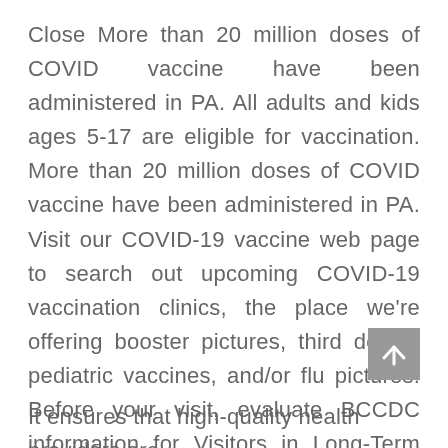Close More than 20 million doses of COVID vaccine have been administered in PA. All adults and kids ages 5-17 are eligible for vaccination. More than 20 million doses of COVID vaccine have been administered in PA. Visit our COVID-19 vaccine web page to search out upcoming COVID-19 vaccination clinics, the place we're offering booster pictures, third doses, pediatric vaccines, and/or flu pictures. Before your visit, evaluate BCCDC information for Visitors in Long-Term Care and Seniors' Assisted Living .
It ensures that high-quality health providers are